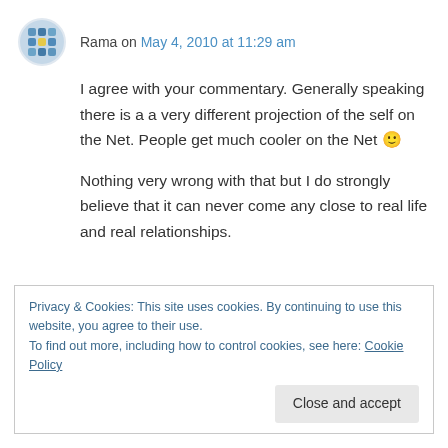Rama on May 4, 2010 at 11:29 am
I agree with your commentary. Generally speaking there is a a very different projection of the self on the Net. People get much cooler on the Net 🙂
Nothing very wrong with that but I do strongly believe that it can never come any close to real life and real relationships.
Privacy & Cookies: This site uses cookies. By continuing to use this website, you agree to their use.
To find out more, including how to control cookies, see here: Cookie Policy
Close and accept